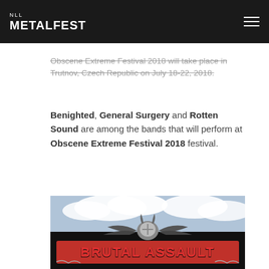NLL METALFEST
Obscene Extreme Festival 2018 will take place in Trutnov, Czech Republic on July 18-22, 2018.
Benighted, General Surgery and Rotten Sound are among the bands that will perform at Obscene Extreme Festival 2018 festival.
[Figure (photo): Photo of a large outdoor metal festival sign reading 'BRUTAL ASSAULT' with a large winged skull-like emblem on top, against a partly cloudy sky]